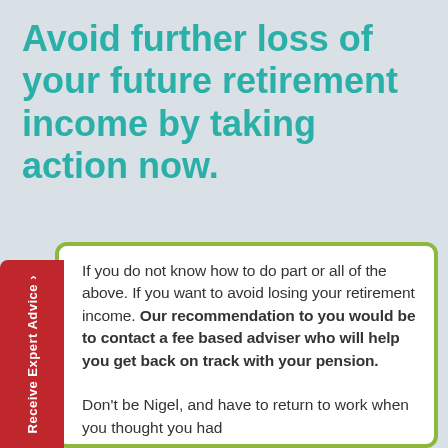Avoid further loss of your future retirement income by taking action now.
If you do not know how to do part or all of the above. If you want to avoid losing your retirement income. Our recommendation to you would be to contact a fee based adviser who will help you get back on track with your pension.
Don't be Nigel, and have to return to work when you thought you had